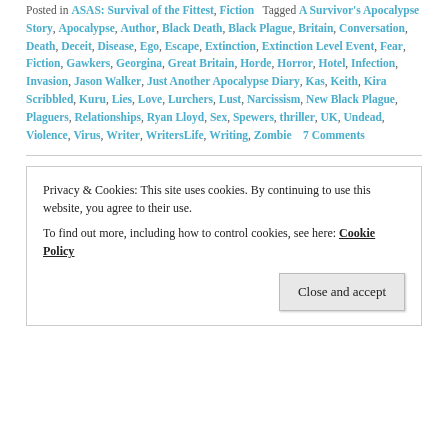Posted in ASAS: Survival of the Fittest, Fiction   Tagged A Survivor's Apocalypse Story, Apocalypse, Author, Black Death, Black Plague, Britain, Conversation, Death, Deceit, Disease, Ego, Escape, Extinction, Extinction Level Event, Fear, Fiction, Gawkers, Georgina, Great Britain, Horde, Horror, Hotel, Infection, Invasion, Jason Walker, Just Another Apocalypse Diary, Kas, Keith, Kira Scribbled, Kuru, Lies, Love, Lurchers, Lust, Narcissism, New Black Plague, Plaguers, Relationships, Ryan Lloyd, Sex, Spewers, thriller, UK, Undead, Violence, Virus, Writer, WritersLife, Writing, Zombie   7 Comments
Privacy & Cookies: This site uses cookies. By continuing to use this website, you agree to their use. To find out more, including how to control cookies, see here: Cookie Policy
Close and accept